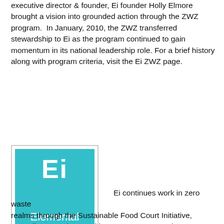executive director & founder, Ei founder Holly Elmore brought a vision into grounded action through the ZWZ program.  In January, 2010, the ZWZ transferred stewardship to Ei as the program continued to gain momentum in its national leadership role. For a brief history along with program criteria, visit the Ei ZWZ page.
[Figure (logo): Elemental Impact logo: teal/cyan square with white 'Ei' letters large at top and 'Elemental IMPACT' text at bottom]
Ei continues work in zero waste realms through the Sustainable Food Court Initiative, Recycling Integrity, speaking engagements and educational workshops. In October an Ei Partner Team consisting of Amy Moreland of Heritage Interactive Services, Chris Bradlee of BASF and Holly visited Newark for two days of zero waste